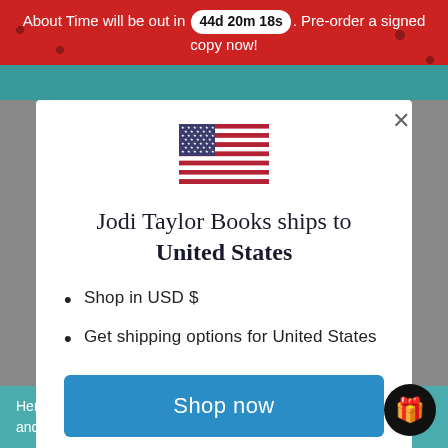About Time will be out in 44d 20m 18s. Pre-order a signed copy now!
[Figure (illustration): United States flag icon centered in modal dialog]
Jodi Taylor Books ships to United States
Shop in USD $
Get shipping options for United States
Shop now
Change shipping country
Heritage so you can discover hundreds of building and their stunning gift range